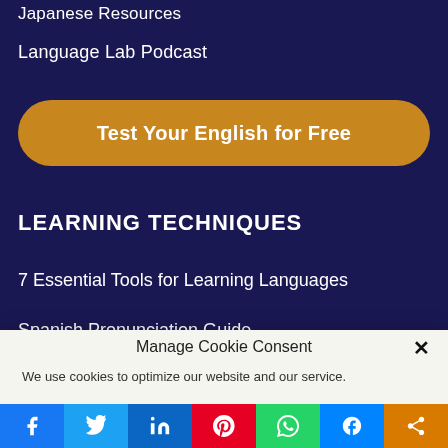Japanese Resources
Language Lab Podcast
Test Your English for Free
LEARNING TECHNIQUES
7 Essential Tools for Learning Languages
Spanish Pronunciation Guide
Manage Cookie Consent
We use cookies to optimize our website and our service.
Accept